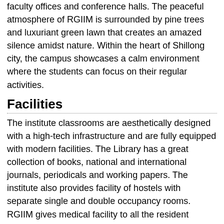faculty offices and conference halls. The peaceful atmosphere of RGIIM is surrounded by pine trees and luxuriant green lawn that creates an amazed silence amidst nature. Within the heart of Shillong city, the campus showcases a calm environment where the students can focus on their regular activities.
Facilities
The institute classrooms are aesthetically designed with a high-tech infrastructure and are fully equipped with modern facilities. The Library has a great collection of books, national and international journals, periodicals and working papers. The institute also provides facility of hostels with separate single and double occupancy rooms. RGIIM gives medical facility to all the resident students with on-duty doctor and dispensary.
Programmes
RGIIM offers a complete two-year Post-Graduate Diploma in Management Programme (PGDM). It also provides one year Post